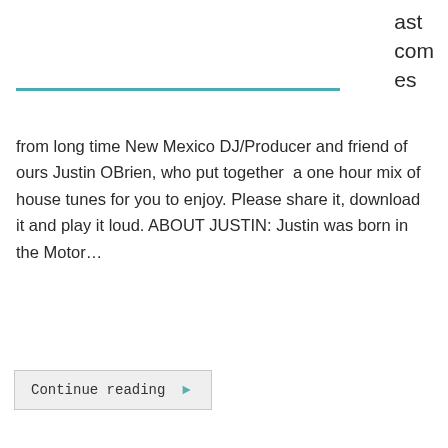ast comes
from long time New Mexico DJ/Producer and friend of ours Justin OBrien, who put together  a one hour mix of house tunes for you to enjoy. Please share it, download it and play it loud. ABOUT JUSTIN: Justin was born in the Motor…
Continue reading ▶
mack   March 15, 2013   Blog/News, Featured, Podcasts   House Music, itunes, JAM On It Podcast, jamonit, Justin OBrien, Podcast
Frank Castro – JAM On It Podcast – 02.22.13